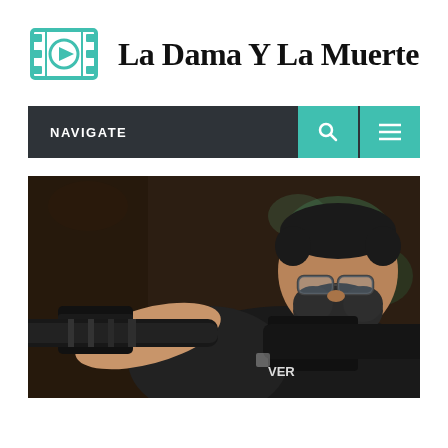[Figure (logo): Film reel/camera logo with teal color and play button icon]
La Dama Y La Muerte
NAVIGATE
[Figure (photo): A bearded man wearing glasses and a black t-shirt looking through a large professional camera lens with a telephoto lens, photographed outdoors with a bokeh background]